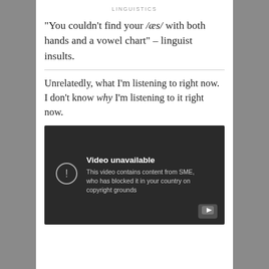LINGUISTICS
"You couldn't find your /æs/ with both hands and a vowel chart" – linguist insults.
Unrelatedly, what I'm listening to right now. I don't know why I'm listening to it right now.
[Figure (screenshot): Embedded YouTube video player showing 'Video unavailable' error message. Text reads: 'This video contains content from SME, who has blocked it in your country on copyright grounds'. A YouTube play button icon is visible in the bottom right corner.]